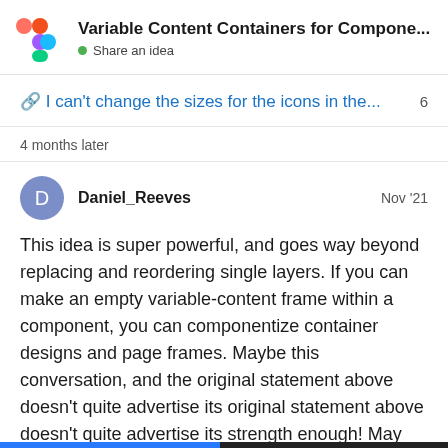Variable Content Containers for Compone... • Share an idea
🔗 I can't change the sizes for the icons in the... 6
4 months later
Daniel_Reeves  Nov '21
This idea is super powerful, and goes way beyond replacing and reordering single layers. If you can make an empty variable-content frame within a component, you can componentize container designs and page frames. Maybe this conversation, and the original statement above doesn't quite advertise its strength enough! May need to make a new thread!